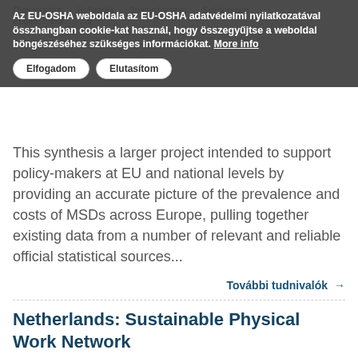Az EU-OSHA weboldala az EU-OSHA adatvédelmi nyilatkozatával összhangban cookie-kat használ, hogy összegyűjtse a weboldal böngészéséhez szükséges információkat. More info
This synthesis ... a larger project intended to support policy-makers at EU and national levels by providing an accurate picture of the prevalence and costs of MSDs across Europe, pulling together existing data from a number of relevant and reliable official statistical sources...
További tudnivalók →
Netherlands: Sustainable Physical Work Network
Case study
Hollandia
English
EU OSHA